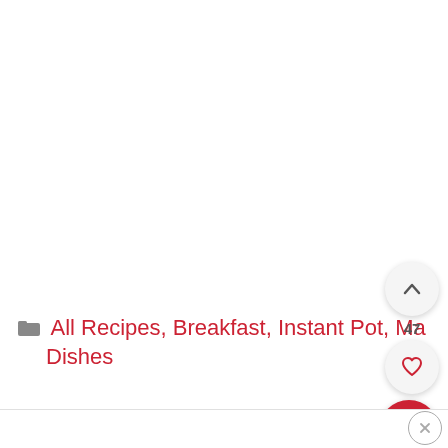All Recipes, Breakfast, Instant Pot, Ma... Dishes
[Figure (infographic): Floating UI buttons on right side: up-chevron button with count 47, heart/favorite button, and red search button]